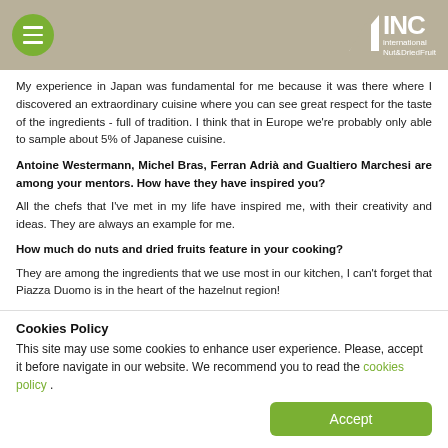INC International Nut&DriedFruit
My experience in Japan was fundamental for me because it was there where I discovered an extraordinary cuisine where you can see great respect for the taste of the ingredients - full of tradition. I think that in Europe we're probably only able to sample about 5% of Japanese cuisine.
Antoine Westermann, Michel Bras, Ferran Adrià and Gualtiero Marchesi are among your mentors. How have they have inspired you?
All the chefs that I've met in my life have inspired me, with their creativity and ideas. They are always an example for me.
How much do nuts and dried fruits feature in your cooking?
They are among the ingredients that we use most in our kitchen, I can't forget that Piazza Duomo is in the heart of the hazelnut region!
Cookies Policy
This site may use some cookies to enhance user experience. Please, accept it before navigate in our website. We recommend you to read the cookies policy .